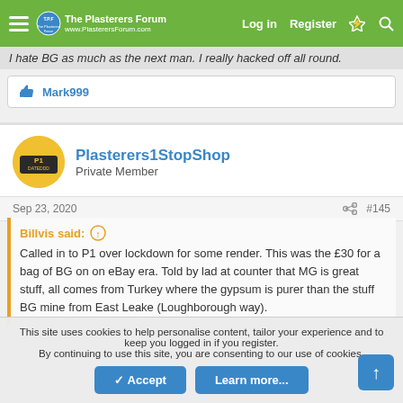The Plasterers Forum | Log in | Register
I hate BG as much as the next man. Really hacked off all round.
👍 Mark999
Plasterers1StopShop
Private Member
Sep 23, 2020  #145
Billvis said: ↑
Called in to P1 over lockdown for some render. This was the £30 for a bag of BG on on eBay era. Told by lad at counter that MG is great stuff, all comes from Turkey where the gypsum is purer than the stuff BG mine from East Leake (Loughborough way).
This site uses cookies to help personalise content, tailor your experience and to keep you logged in if you register.
By continuing to use this site, you are consenting to our use of cookies.